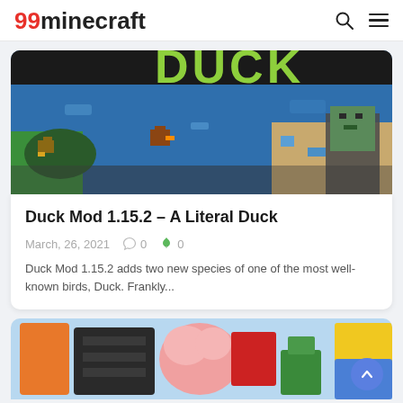99minecraft
[Figure (screenshot): Minecraft Duck Mod screenshot showing ducks and a zombie in a blocky environment with 'Duck' text in green block letters on a blue background]
Duck Mod 1.15.2 – A Literal Duck
March, 26, 2021   0   0
Duck Mod 1.15.2 adds two new species of one of the most well-known birds, Duck. Frankly...
[Figure (screenshot): Minecraft mod screenshot showing colorful blocky characters/items including orange, dark, pink, red, green and blue Minecraft-style items on a light blue background]